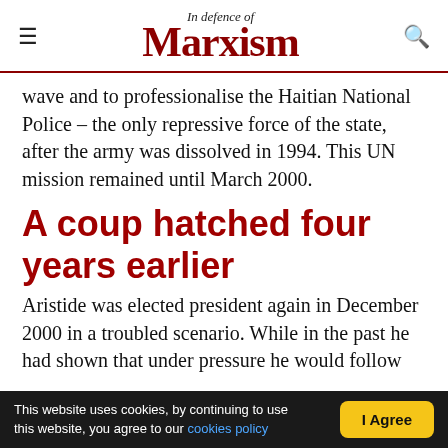In defence of Marxism
wave and to professionalise the Haitian National Police – the only repressive force of the state, after the army was dissolved in 1994. This UN mission remained until March 2000.
A coup hatched four years earlier
Aristide was elected president again in December 2000 in a troubled scenario. While in the past he had shown that under pressure he would follow
This website uses cookies, by continuing to use this website, you agree to our cookies policy   I Agree